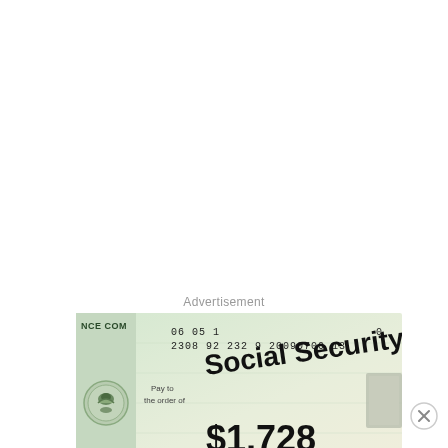Advertisement
[Figure (photo): A Social Security benefit check showing 'Pay to the order of Social Security Benefit $1,728' with check numbers '06 05 2308 92 232 9 20090700 130' and an eagle seal, partially reflected below.]